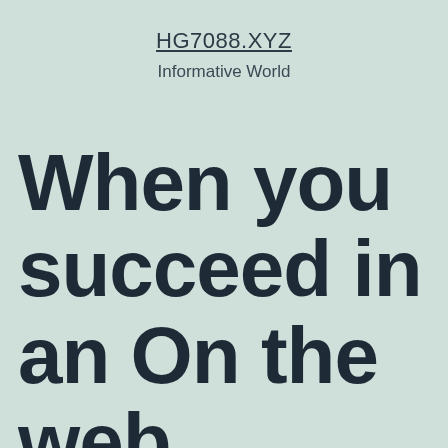HG7088.XYZ
Informative World
When you succeed in an On the web Casino game,